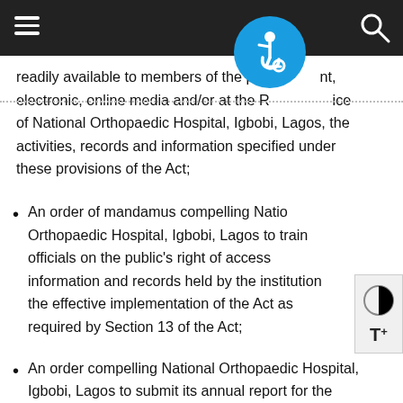Navigation header bar with hamburger menu and search icon
readily available to members of the public in print, electronic, online media and/or at the Registry/office of National Orthopaedic Hospital, Igbobi, Lagos, the activities, records and information specified under these provisions of the Act;
An order of mandamus compelling National Orthopaedic Hospital, Igbobi, Lagos to train officials on the public's right of access information and records held by the institution for the effective implementation of the Act as required by Section 13 of the Act;
An order compelling National Orthopaedic Hospital, Igbobi, Lagos to submit its annual report for the